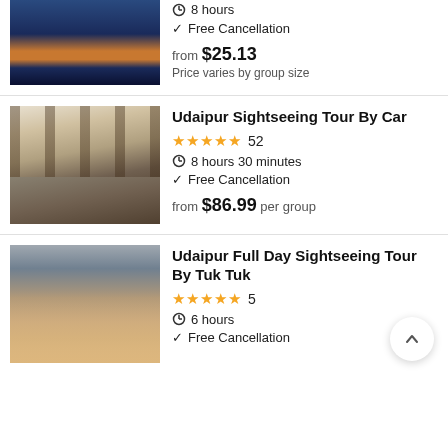[Figure (photo): Aerial night view of a lake city with reflections of lights on water]
8 hours
Free Cancellation
from $25.13
Price varies by group size
[Figure (photo): Group of tourists standing in front of ancient temple pillars]
Udaipur Sightseeing Tour By Car
★★★★★ 52
8 hours 30 minutes
Free Cancellation
from $86.99 per group
[Figure (photo): Selfie of three men outdoors near ruins]
Udaipur Full Day Sightseeing Tour By Tuk Tuk
★★★★★ 5
6 hours
Free Cancellation